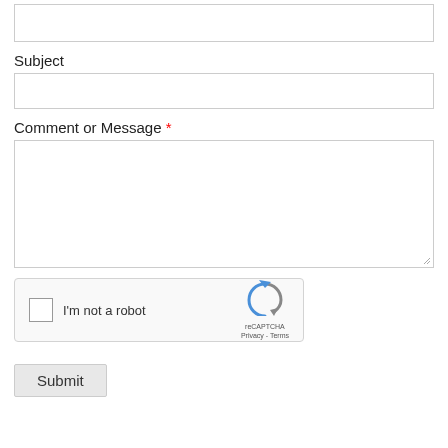[Figure (other): Top of a text input field (partially visible at top of page)]
Subject
[Figure (other): Subject text input field (empty)]
Comment or Message *
[Figure (other): Comment or Message textarea (empty, resizable)]
[Figure (other): reCAPTCHA widget with checkbox labeled 'I'm not a robot']
Submit